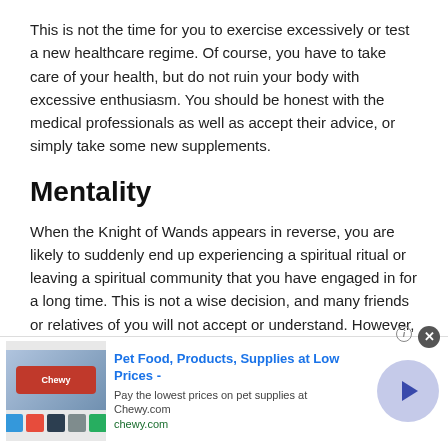This is not the time for you to exercise excessively or test a new healthcare regime. Of course, you have to take care of your health, but do not ruin your body with excessive enthusiasm. You should be honest with the medical professionals as well as accept their advice, or simply take some new supplements.
Mentality
When the Knight of Wands appears in reverse, you are likely to suddenly end up experiencing a spiritual ritual or leaving a spiritual community that you have engaged in for a long time. This is not a wise decision, and many friends or relatives of you will not accept or understand. However, the core issue is that all decisions of this kind are directly related to your
[Figure (other): Advertisement banner for Chewy.com pet food and supplies. Shows pet product images on left, ad text in center reading 'Pet Food, Products, Supplies at Low Prices - Pay the lowest prices on pet supplies at Chewy.com', and a lavender circle with right-arrow button on the right. A close (X) button appears at top right.]